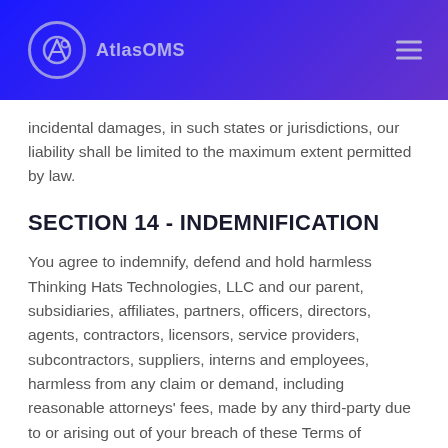AtlasOMS
incidental damages, in such states or jurisdictions, our liability shall be limited to the maximum extent permitted by law.
SECTION 14 - INDEMNIFICATION
You agree to indemnify, defend and hold harmless Thinking Hats Technologies, LLC and our parent, subsidiaries, affiliates, partners, officers, directors, agents, contractors, licensors, service providers, subcontractors, suppliers, interns and employees, harmless from any claim or demand, including reasonable attorneys' fees, made by any third-party due to or arising out of your breach of these Terms of